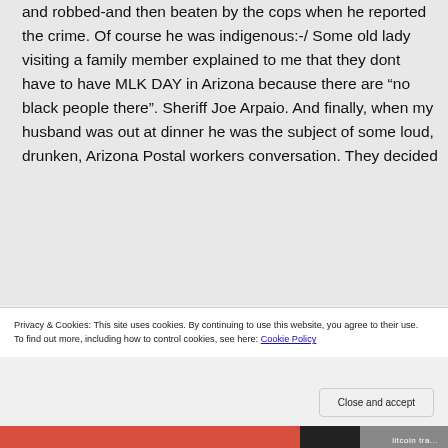and robbed-and then beaten by the cops when he reported the crime. Of course he was indigenous:-/ Some old lady visiting a family member explained to me that they dont have to have MLK DAY in Arizona because there are “no black people there”. Sheriff Joe Arpaio. And finally, when my husband was out at dinner he was the subject of some loud, drunken, Arizona Postal workers conversation. They decided
Privacy & Cookies: This site uses cookies. By continuing to use this website, you agree to their use.
To find out more, including how to control cookies, see here: Cookie Policy
Close and accept